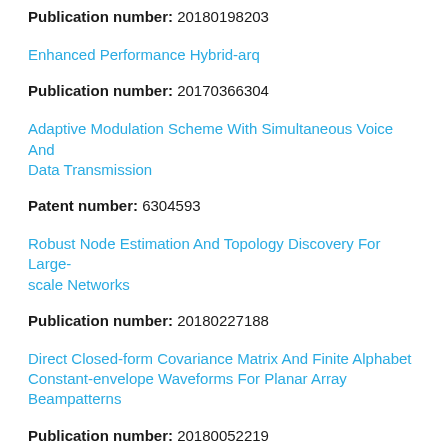Publication number: 20180198203
Enhanced Performance Hybrid-arq
Publication number: 20170366304
Adaptive Modulation Scheme With Simultaneous Voice And Data Transmission
Patent number: 6304593
Robust Node Estimation And Topology Discovery For Large-scale Networks
Publication number: 20180227188
Direct Closed-form Covariance Matrix And Finite Alphabet Constant-envelope Waveforms For Planar Array Beampatterns
Publication number: 20180052219
Generation Of Correlated Finite Alphabet Waveforms Using Gaussian Random Variables
Publication number: 20160013819